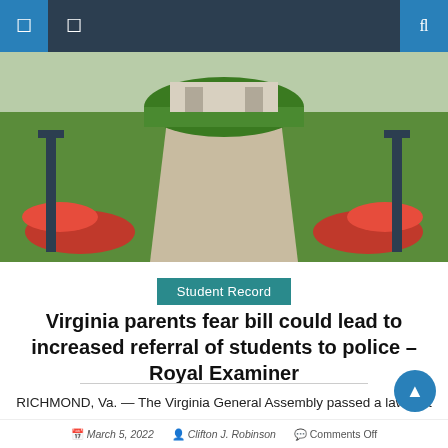Navigation bar with menu icons and search
[Figure (photo): Outdoor photo showing a walkway with steps flanked by green lawns, red flowers, and black lamp posts leading to a building]
Student Record
Virginia parents fear bill could lead to increased referral of students to police – Royal Examiner
RICHMOND, Va. — The Virginia General Assembly passed a law that will allow principals to report certain student misdemeanors to law enforcement, overriding parts of a previous law. Lawmakers, parents and advocates fear the legislation will lead to over-reporting of minor offenses to law enforcement instead of leaving reports to the discretion of school officials. [...]
March 5, 2022   Clifton J. Robinson   Comments Off